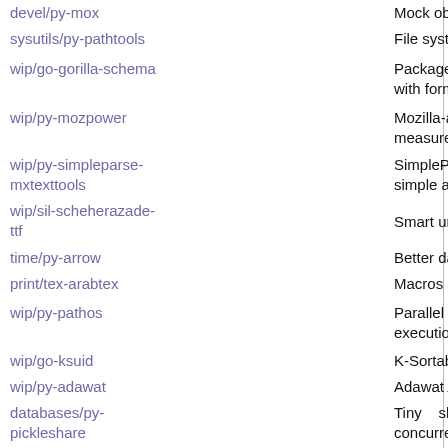devel/py-mox	Mock object fram
sysutils/py-pathtools	File system gene
wip/go-gorilla-schema	Package gorilla with form values
wip/py-mozpower	Mozilla-authored measurement too
wip/py-simpleparse-mxtexttools	SimpleParse is simple and fast p
wip/sil-scheherazade-ttf	Smart unicode fo
time/py-arrow	Better dates and
print/tex-arabtex	Macros and fonts
wip/py-pathos	Parallel graph execution in hete
wip/go-ksuid	K-Sortable Globa
wip/py-adawat	Adawat Arabic La
databases/py-pickleshare	Tiny shelve-li concurrency sup
wip/go-procfs	Procfs provides /sys
wip/py-ZopeSecurity	Zope Security Fr